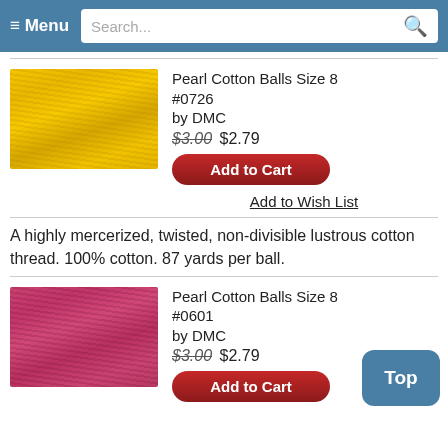≡ Menu  Search...
[Figure (photo): Yellow/gold twisted cotton thread skein]
Pearl Cotton Balls Size 8 #0726
by DMC
$3.00 $2.79
Add to Cart
Add to Wish List
A highly mercerized, twisted, non-divisible lustrous cotton thread. 100% cotton. 87 yards per ball.
[Figure (photo): Pink/crimson twisted cotton thread skein]
Pearl Cotton Balls Size 8 #0601
by DMC
$3.00 $2.79
Add to Cart
Top